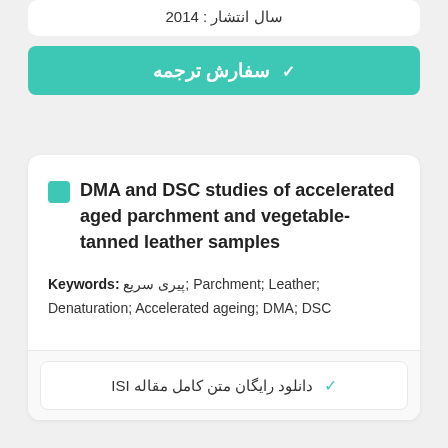سال انتشار : 2014
✓ سفارش ترجمه
DMA and DSC studies of accelerated aged parchment and vegetable-tanned leather samples
Keywords: پیری سریع; Parchment; Leather; Denaturation; Accelerated ageing; DMA; DSC
✓ دانلود رایگان متن کامل مقاله ISI